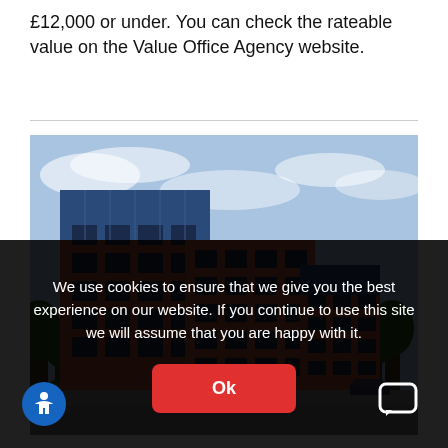£12,000 or under. You can check the rateable value on the Value Office Agency website.
[Figure (photo): Exterior photograph of a modern multi-storey brick and glass office building with blue sky background and trees.]
We use cookies to ensure that we give you the best experience on our website. If you continue to use this site we will assume that you are happy with it.